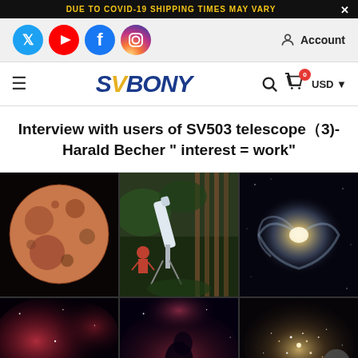DUE TO COVID-19 SHIPPING TIMES MAY VARY
[Figure (screenshot): Social media icons: Twitter, YouTube, Facebook, Instagram; and Account link on the right]
[Figure (logo): SVBONY logo with search icon, cart icon with badge '0', and USD currency selector]
Interview with users of SV503 telescope（3)-Harald Becher " interest = work"
[Figure (photo): Grid of six astronomy photos: moon surface, telescope in garden, spiral galaxy, nebula (red), dark nebula, and star cluster]